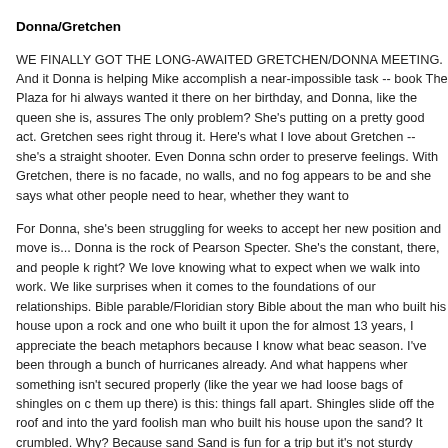Donna/Gretchen
WE FINALLY GOT THE LONG-AWAITED GRETCHEN/DONNA MEETING. And it Donna is helping Mike accomplish a near-impossible task -- book The Plaza for hi always wanted it there on her birthday, and Donna, like the queen she is, assures The only problem? She's putting on a pretty good act. Gretchen sees right through it. Here's what I love about Gretchen -- she's a straight shooter. Even Donna schm order to preserve feelings. With Gretchen, there is no facade, no walls, and no fog appears to be and she says what other people need to hear, whether they want to
For Donna, she's been struggling for weeks to accept her new position and move is... Donna is the rock of Pearson Specter. She's the constant, there, and people k right? We love knowing what to expect when we walk into work. We like surprises when it comes to the foundations of our relationships. Bible parable/Floridian story Bible about the man who built his house upon a rock and one who built it upon the for almost 13 years, I appreciate the beach metaphors because I know what beac season. I've been through a bunch of hurricanes already. And what happens wher something isn't secured properly (like the year we had loose bags of shingles on c them up there) is this: things fall apart. Shingles slide off the roof and into the yard foolish man who built his house upon the sand? It crumbled. Why? Because sand Sand is fun for a trip but it's not sturdy enough to help you weather storm after sto